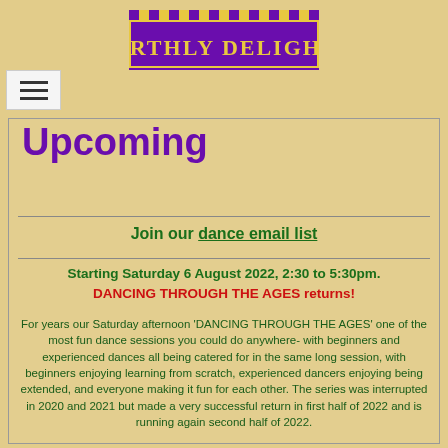[Figure (logo): Earthly Delights logo — gold medieval text on purple banner with battlements]
[Figure (other): Hamburger menu button (three horizontal lines)]
Upcoming
Join our dance email list
Starting Saturday 6 August 2022, 2:30 to 5:30pm. DANCING THROUGH THE AGES returns!
For years our Saturday afternoon 'DANCING THROUGH THE AGES' one of the most fun dance sessions you could do anywhere- with beginners and experienced dances all being catered for in the same long session, with beginners enjoying learning from scratch, experienced dancers enjoying being extended, and everyone making it fun for each other. The series was interrupted in 2020 and 2021 but made a very successful return in first half of 2022 and is running again second half of 2022.